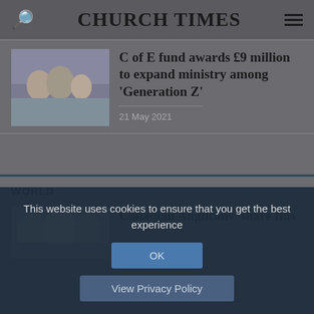CHURCH TIMES
C of E fund awards £9 million to expand ministry among ‘Generation Z’
21 May 2021
WORLD
Canadian Anglicans ‘share this
This website uses cookies to ensure that you get the best experience